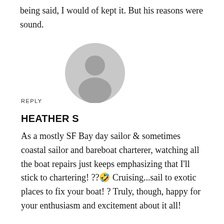being said, I would of kept it. But his reasons were sound.
REPLY
[Figure (illustration): Default user avatar: grey circle with a generic silhouette of a person's head and shoulders]
HEATHER S
As a mostly SF Bay day sailor & sometimes coastal sailor and bareboat charterer, watching all the boat repairs just keeps emphasizing that I'll stick to chartering! ??🤣 Cruising...sail to exotic places to fix your boat! ? Truly, though, happy for your enthusiasm and excitement about it all!